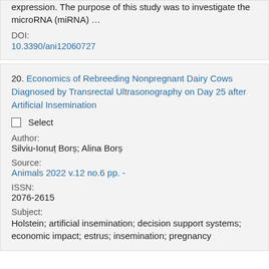expression. The purpose of this study was to investigate the microRNA (miRNA) …
DOI:
10.3390/ani12060727
20. Economics of Rebreeding Nonpregnant Dairy Cows Diagnosed by Transrectal Ultrasonography on Day 25 after Artificial Insemination
Select
Author:
Silviu-Ionuț Borș; Alina Borș
Source:
Animals 2022 v.12 no.6 pp. -
ISSN:
2076-2615
Subject:
Holstein; artificial insemination; decision support systems; economic impact; estrus; insemination; pregnancy